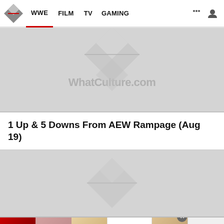WWE  FILM  TV  GAMING
[Figure (screenshot): WhatCulture.com placeholder image with diamond logo watermark and text]
1 Up & 5 Downs From AEW Rampage (Aug 19)
[Figure (screenshot): WhatCulture.com placeholder image with diamond logo watermark]
[Figure (screenshot): Ulta beauty advertisement banner with makeup images and SHOP NOW text]